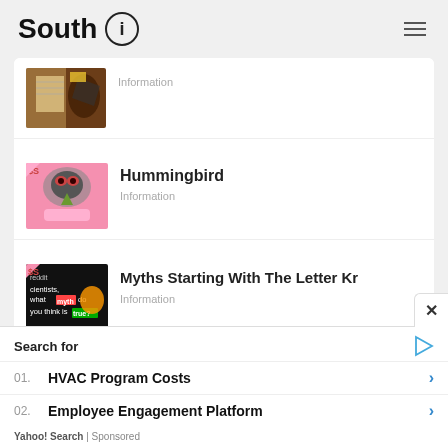South i
[Figure (photo): Thumbnail of a bird (dark brown tones) with a book/magazine visible]
Information
[Figure (photo): Hummingbird on pink flowers against pink background]
Hummingbird
Information
[Figure (photo): Dark myth-themed image with text: scientists, what myth do you think is true?]
Myths Starting With The Letter Kr
Information
Search for
01.  HVAC Program Costs
02.  Employee Engagement Platform
Yahoo! Search | Sponsored